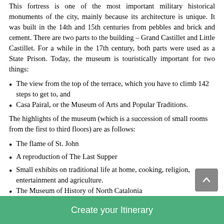This fortress is one of the most important military historical monuments of the city, mainly because its architecture is unique. It was built in the 14th and 15th centuries from pebbles and brick and cement. There are two parts to the building – Grand Castillet and Little Castillet. For a while in the 17th century, both parts were used as a State Prison. Today, the museum is touristically important for two things:
The view from the top of the terrace, which you have to climb 142 steps to get to, and
Casa Pairal, or the Museum of Arts and Popular Traditions.
The highlights of the museum (which is a succession of small rooms from the first to third floors) are as follows:
The flame of St. John
A reproduction of The Last Supper
Small exhibits on traditional life at home, cooking, religion, entertainment and agriculture.
The Museum of History of North Catalonia
Create your Itinerary